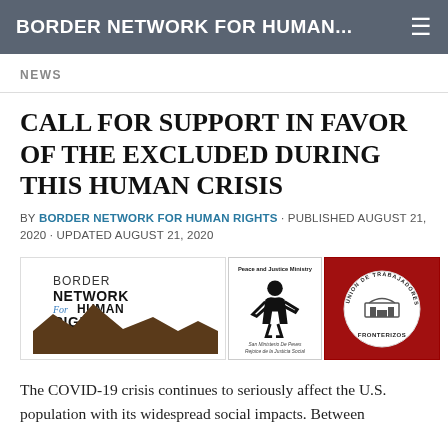BORDER NETWORK FOR HUMAN...
NEWS
CALL FOR SUPPORT IN FAVOR OF THE EXCLUDED DURING THIS HUMAN CRISIS
BY BORDER NETWORK FOR HUMAN RIGHTS · PUBLISHED AUGUST 21, 2020 · UPDATED AUGUST 21, 2020
[Figure (logo): Three organizational logos side by side: Border Network for Human Rights logo (text with brown mountain silhouette), Peace and Justice Ministry logo (black and white figure), and Union de Trabajadores Agricolas Fronterizos logo (white circular emblem on red background)]
The COVID-19 crisis continues to seriously affect the U.S. population with its widespread social impacts. Between